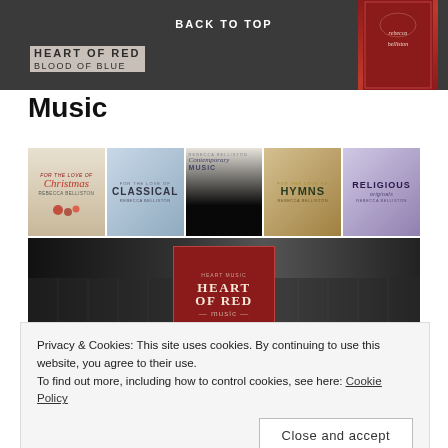[Figure (photo): Dark banner showing a book cover for 'Heart of Red / Blood of Blue' by Rebecca Belliston with a red hardcover book on the right, and a 'BACK TO TOP' label centered at the top.]
Music
[Figure (photo): Row of five music album covers: Christmas (For the Love of Christmas), Classical, Contemporary Music, Hymns, and Religious Originals — all by Rebecca Belliston.]
[Figure (photo): Dark piano keys background with a red 'Heart of Red' album/book cover card centered on top.]
Privacy & Cookies: This site uses cookies. By continuing to use this website, you agree to their use.
To find out more, including how to control cookies, see here: Cookie Policy
Close and accept